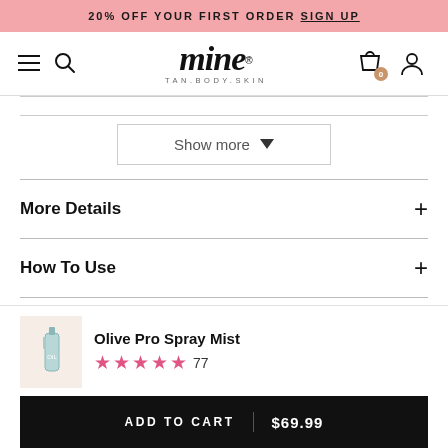20% OFF YOUR FIRST ORDER SIGN UP
[Figure (screenshot): mine TAN.BODY.SKIN logo with hamburger menu, search icon, shopping bag with 0 badge, and user icon]
Show more
More Details +
How To Use +
Ingredients +
Olive Pro Spray Mist
★★★★★ 77
ADD TO CART | $69.99